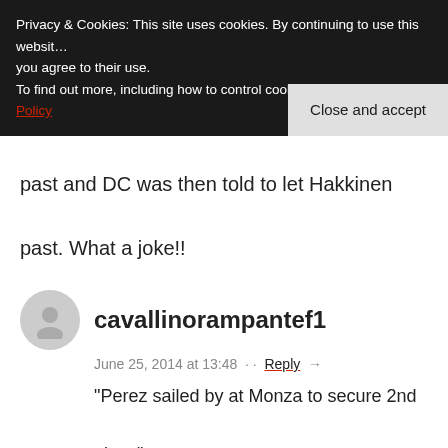Privacy & Cookies: This site uses cookies. By continuing to use this website, you agree to their use.
To find out more, including how to control cookies, see here: Cookie Policy
Close and accept
past and DC was then told to let Hakkinen past. What a joke!!
cavallinorampantef1
June 25, 2014 at 13:48 · · Reply →
"Perez sailed by at Monza to secure 2nd place"